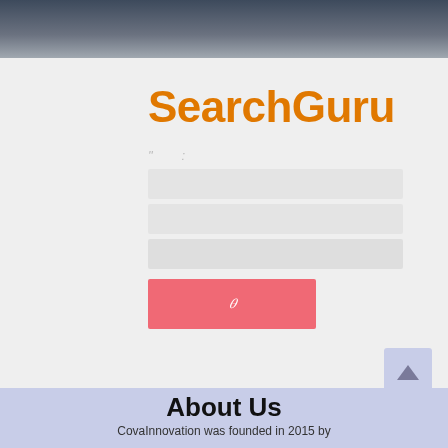[Figure (screenshot): Dark gradient header navigation bar at the top of a website]
SearchGuru
[Figure (screenshot): Search interface with input fields and a salmon/red search button labeled with an italic character]
About Us
CovaInnovation was founded in 2015 by